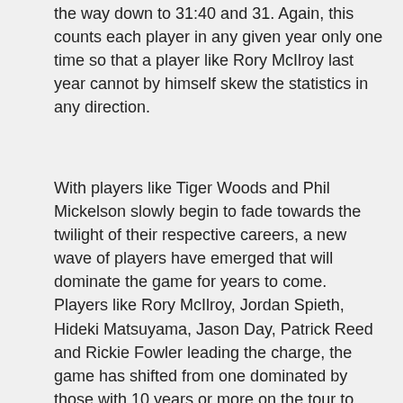the way down to 31:40 and 31. Again, this counts each player in any given year only one time so that a player like Rory McIlroy last year cannot by himself skew the statistics in any direction.
With players like Tiger Woods and Phil Mickelson slowly begin to fade towards the twilight of their respective careers, a new wave of players have emerged that will dominate the game for years to come. Players like Rory McIlroy, Jordan Spieth, Hideki Matsuyama, Jason Day, Patrick Reed and Rickie Fowler leading the charge, the game has shifted from one dominated by those with 10 years or more on the tour to players just entering from the qualifying ranks. Whether this shift can be attributed to better youth programs and participation, or programs geared more rigorously towards developing younger players